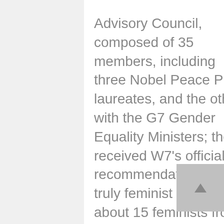Advisory Council, composed of 35 members, including three Nobel Peace Prize laureates, and the other with the G7 Gender Equality Ministers; they received W7's official recommendations for a truly feminist G7 from about 15 feminists from 12 countries.